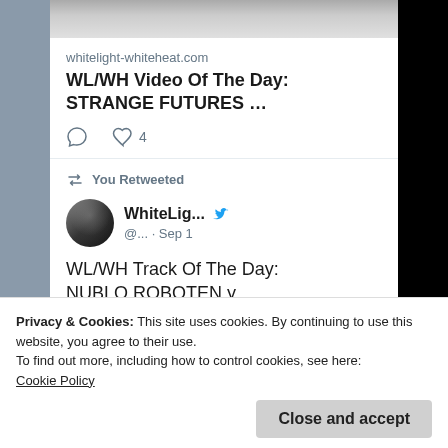[Figure (screenshot): Top portion of a person's image/photo cropped at the top of the tweet card]
whitelight-whiteheat.com
WL/WH Video Of The Day: STRANGE FUTURES …
♡ 4
You Retweeted
WhiteLig... @... · Sep 1
WL/WH Track Of The Day: NUBLO ROBOTEN y ZARA "Dulces y Violentos"
#electronic #analogsynth
Privacy & Cookies: This site uses cookies. By continuing to use this website, you agree to their use.
To find out more, including how to control cookies, see here:
Cookie Policy
Close and accept